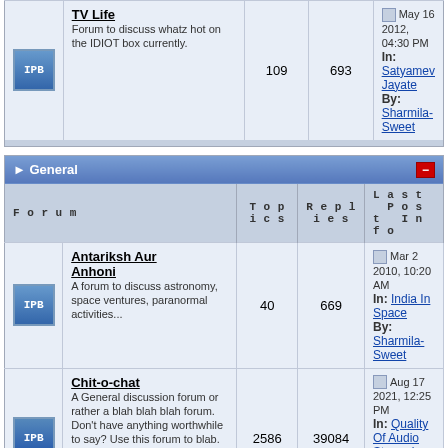| Forum | Topics | Replies | Last Post Info |
| --- | --- | --- | --- |
| TV Life - Forum to discuss whatz hot on the IDIOT box currently. | 109 | 693 | May 16 2012, 04:30 PM In: Satyamev Jayate By: Sharmila-Sweet |
General
| Forum | Topics | Replies | Last Post Info |
| --- | --- | --- | --- |
| Antariksh Aur Anhoni - A forum to discuss astronomy, space ventures, paranormal activities... | 40 | 669 | Mar 2 2010, 10:20 AM In: India In Space By: Sharmila-Sweet |
| Chit-o-chat - A General discussion forum or rather a blah blah blah forum. Don't have anything worthwhile to say? Use this forum to blab. :) | 2586 | 39084 | Aug 17 2021, 12:25 PM In: Quality Of Audio Streaming ... By: mreccentric |
| Computing and Technology - A forum to discuss about... |  |  |  |